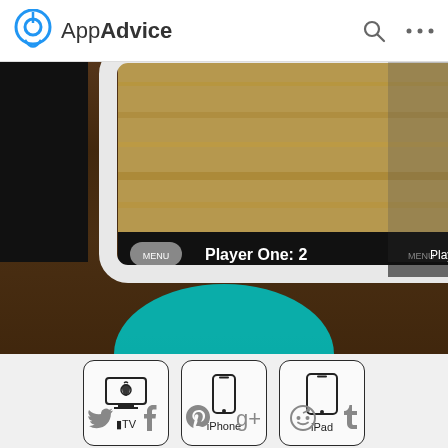AppAdvice
[Figure (screenshot): App screenshot showing a game screen with 'Player One: 2' label over a wheat field background, displayed on an iPhone mockup against a dark wooden table background]
[Figure (infographic): Three device compatibility icons in rounded square boxes: Apple TV, iPhone, iPad]
$0.99
in the App Store
[Figure (infographic): Social sharing icons row: Twitter, Facebook, Pinterest, Google+, Reddit, Tumblr]